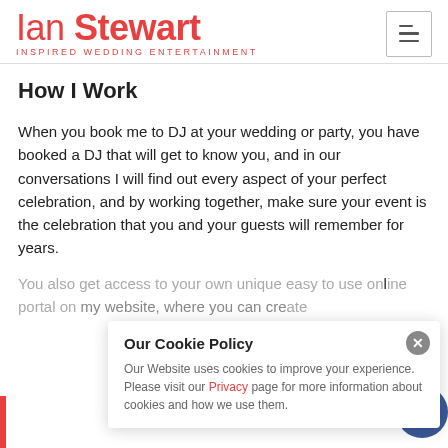Ian Stewart INSPIRED WEDDING ENTERTAINMENT
How I Work
When you book me to DJ at your wedding or party, you have booked a DJ that will get to know you, and in our conversations I will find out every aspect of your perfect celebration, and by working together, make sure your event is the celebration that you and your guests will remember for years.
You also get access to your own unique easy to use online portal on my website, where you can create...
Our Cookie Policy
Our Website uses cookies to improve your experience. Please visit our Privacy page for more information about cookies and how we use them.